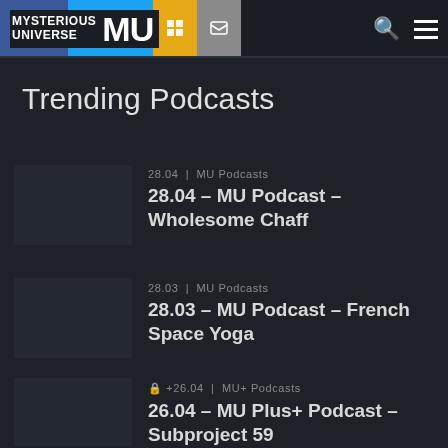MYSTERIOUS UNIVERSE MU | Share | Tweet
Trending Podcasts
28.04 | MU Podcasts
28.04 – MU Podcast – Wholesome Chaff
28.03 | MU Podcasts
28.03 – MU Podcast – French Space Yoga
🔒 +26.04 | MU+ Podcasts
26.04 – MU Plus+ Podcast – Subproject 59